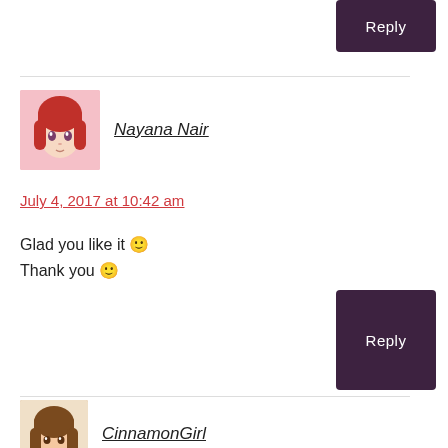Reply
Nayana Nair
July 4, 2017 at 10:42 am
Glad you like it 🙂
Thank you 🙂
Reply
CinnamonGirl